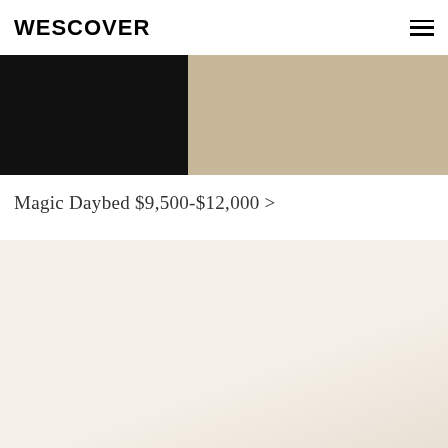WESCOVER
[Figure (photo): A product photo split into two zones: left half shows a dark/black object, right half shows a concrete or stone-textured floor surface in beige/tan tones.]
Magic Daybed $9,500-$12,000 >
[Figure (photo): A large off-white/cream colored image area, appearing to show a light-colored furniture piece or white studio background.]